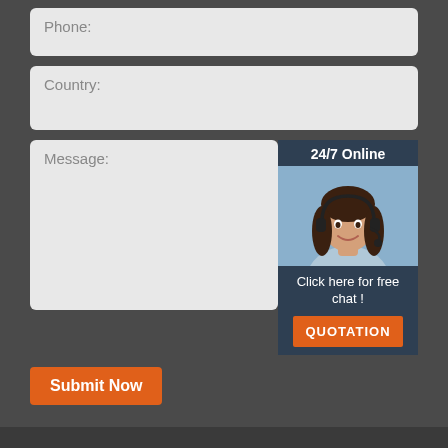Phone:
Country:
Message:
[Figure (illustration): 24/7 Online chat widget with a photo of a female customer service agent wearing a headset, and a 'Click here for free chat!' message with a QUOTATION button below.]
Submit Now
Sitemap | 200 ton railway bridge erecting beam launcher customized cameroon | 250 ton beam launcher crane distributor uganda | south africa